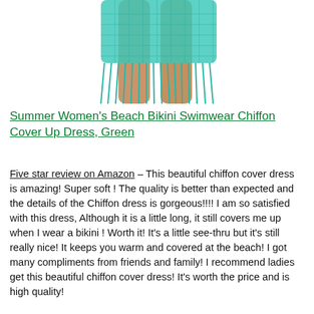[Figure (photo): A woman wearing a teal/turquoise crocheted fringe beach cover-up dress, showing legs and lower torso cropped view.]
Summer Women's Beach Bikini Swimwear Chiffon Cover Up Dress, Green
Five star review on Amazon – This beautiful chiffon cover dress is amazing! Super soft ! The quality is better than expected and the details of the Chiffon dress is gorgeous!!!! I am so satisfied with this dress, Although it is a little long, it still covers me up when I wear a bikini ! Worth it! It's a little see-thru but it's still really nice! It keeps you warm and covered at the beach! I got many compliments from friends and family! I recommend ladies get this beautiful chiffon cover dress! It's worth the price and is high quality!